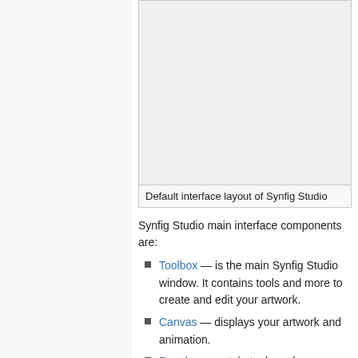[Figure (screenshot): Default interface layout of Synfig Studio — large screenshot area shown as blank/gray box]
Default interface layout of Synfig Studio
Synfig Studio main interface components are:
Toolbox — is the main Synfig Studio window. It contains tools and more to create and edit your artwork.
Canvas — displays your artwork and animation.
Panels — contain tools and information about certain elements of your project. Some panels will allow you to modify those